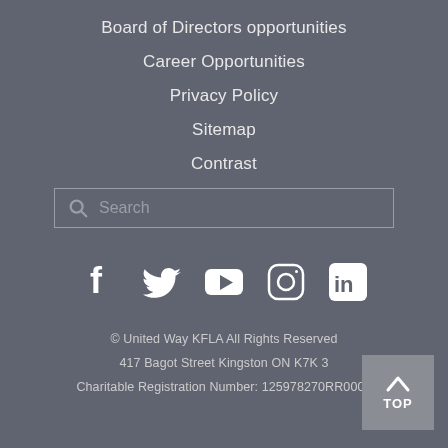Board of Directors opportunities
Career Opportunities
Privacy Policy
Sitemap
Contrast
[Figure (screenshot): Search input box with search icon and placeholder text 'Search']
[Figure (infographic): Social media icons: Facebook, Twitter, YouTube, Instagram, LinkedIn]
© United Way KFLA All Rights Reserved
417 Bagot Street Kingston ON K7K 3
Charitable Registration Number: 125978270RR0001